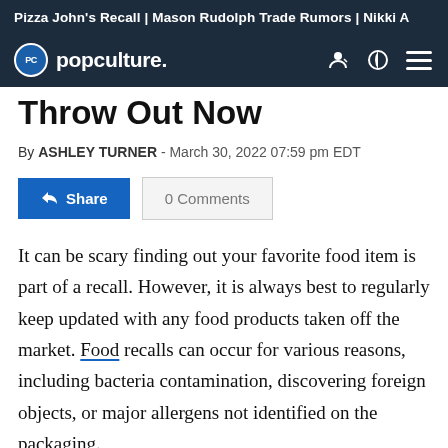Pizza John's Recall | Mason Rudolph Trade Rumors | Nikki A
popculture.
Throw Out Now
By ASHLEY TURNER - March 30, 2022 07:59 pm EDT
It can be scary finding out your favorite food item is part of a recall. However, it is always best to regularly keep updated with any food products taken off the market. Food recalls can occur for various reasons, including bacteria contamination, discovering foreign objects, or major allergens not identified on the packaging.